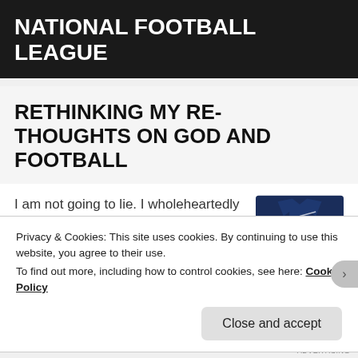NATIONAL FOOTBALL LEAGUE
RETHINKING MY RE-THOUGHTS ON GOD AND FOOTBALL
I am not going to lie. I wholeheartedly believe
[Figure (photo): Navy blue t-shirt with white graphic print]
Privacy & Cookies: This site uses cookies. By continuing to use this website, you agree to their use.
To find out more, including how to control cookies, see here: Cookie Policy
Close and accept